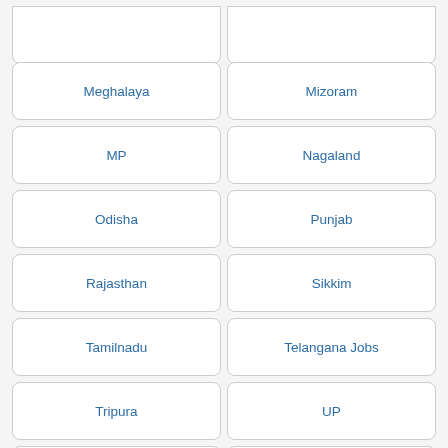Meghalaya
Mizoram
MP
Nagaland
Odisha
Punjab
Rajasthan
Sikkim
Tamilnadu
Telangana Jobs
Tripura
UP
Uttarakhand
West Bengal
National Health Mission Manipur
www.nrhmmanipur.org